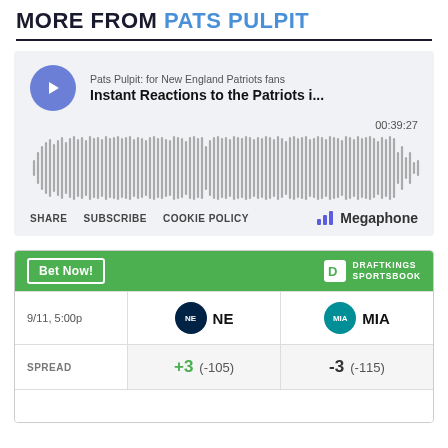MORE FROM PATS PULPIT
[Figure (screenshot): Megaphone podcast player for 'Pats Pulpit: for New England Patriots fans - Instant Reactions to the Patriots i...' with waveform display showing duration 00:39:27, and controls: SHARE, SUBSCRIBE, COOKIE POLICY, Megaphone logo]
[Figure (screenshot): DraftKings Sportsbook widget showing game NE vs MIA on 9/11 5:00p, SPREAD: NE +3 (-105), MIA -3 (-115)]